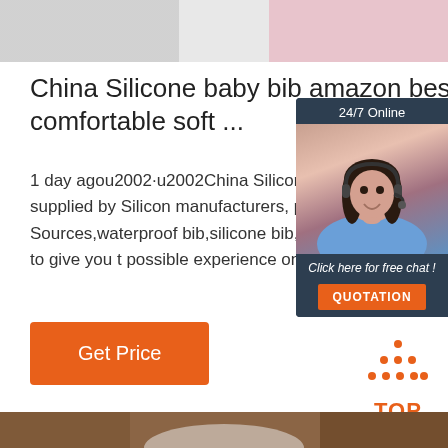[Figure (photo): Partial top banner image, cropped, light gray/pink tones]
China Silicone baby bib amazon best comfortable soft ...
1 day agou2002·u2002China Silicone baby bib 100501 is supplied by Silicon manufacturers, producers, suppliers o Sources,waterproof bib,silicone bib,wa baby bib We use cookies to give you t possible experience on our website.
[Figure (photo): Chat widget showing a woman with headset, 24/7 Online label, Click here for free chat text, and QUOTATION button]
Get Price
[Figure (illustration): TOP icon with orange dots arranged in a triangle above the text TOP in orange]
[Figure (photo): Bottom partial image showing wooden surface and white fabric, cropped]